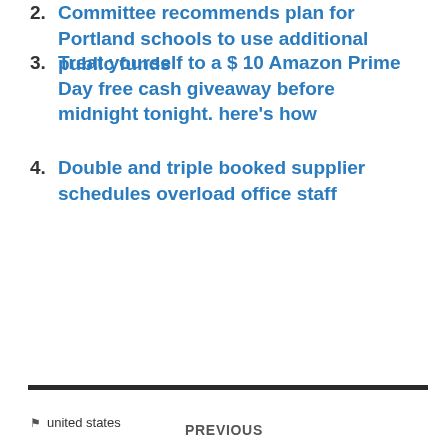2. Committee recommends plan for Portland schools to use additional public funds
3. Treat yourself to a $ 10 Amazon Prime Day free cash giveaway before midnight tonight. here's how
4. Double and triple booked supplier schedules overload office staff
🏷 united states
PREVIOUS